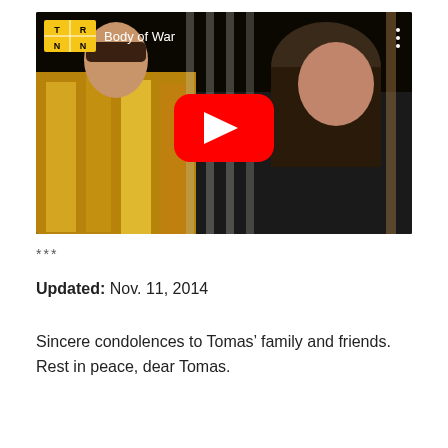[Figure (screenshot): YouTube video embed showing two people seated indoors, titled 'Body of War'. A TRNN logo badge appears in the top left, a three-dot menu in the top right, and a red YouTube play button in the center.]
***
Updated: Nov. 11, 2014
Sincere condolences to Tomas’ family and friends. Rest in peace, dear Tomas.